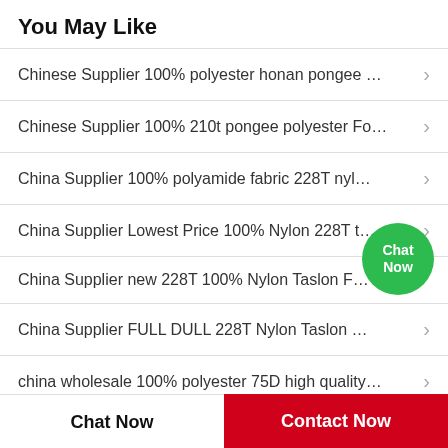You May Like
Chinese Supplier 100% polyester honan pongee …
Chinese Supplier 100% 210t pongee polyester Fo…
China Supplier 100% polyamide fabric 228T nyl…
China Supplier Lowest Price 100% Nylon 228T t…
China Supplier new 228T 100% Nylon Taslon F…
China Supplier FULL DULL 228T Nylon Taslon …
china wholesale 100% polyester 75D high quality…
Chat Now
Contact Now